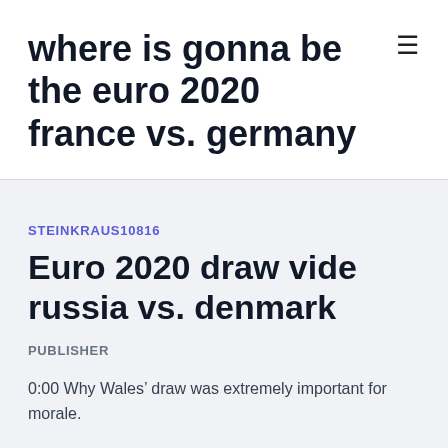where is gonna be the euro 2020 france vs. germany
STEINKRAUS10816
Euro 2020 draw vide russia vs. denmark
PUBLISHER
0:00 Why Wales’ draw was extremely important for morale.